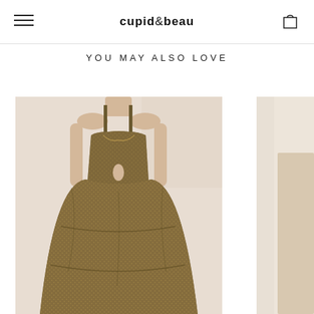cupid & beau
YOU MAY ALSO LOVE
[Figure (photo): Model wearing a long olive/gold patterned maxi dress with a sweetheart neckline, spaghetti straps, and a keyhole cutout at the front waist, standing against a neutral background.]
[Figure (photo): Partial view of a second product photo on the right edge, showing a similar neutral/beige background and garment.]